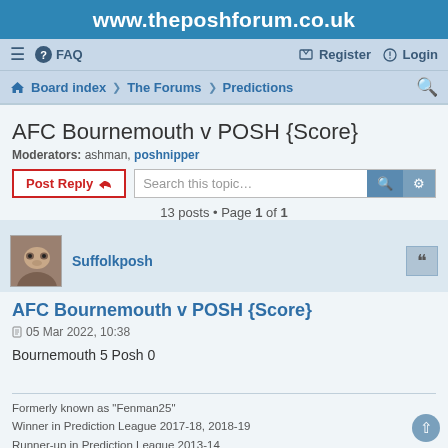www.theposhforum.co.uk
≡  FAQ   Register  Login
Board index · The Forums · Predictions
AFC Bournemouth v POSH {Score}
Moderators: ashman, poshnipper
Post Reply   Search this topic…
13 posts • Page 1 of 1
Suffolkposh
AFC Bournemouth v POSH {Score}
05 Mar 2022, 10:38
Bournemouth 5 Posh 0
Formerly known as "Fenman25"
Winner in Prediction League 2017-18, 2018-19
Runner-up in Prediction League 2013-14